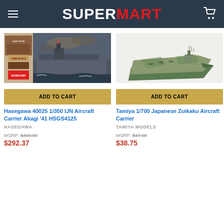SUPERMART
[Figure (photo): Product photo of Hasegawa 40025 1/350 IJN Aircraft Carrier Akagi '41 model kit box art, showing dramatic naval scene]
[Figure (photo): Product photo of Tamiya 1/700 Japanese Zuikaku Aircraft Carrier scale model, showing assembled green/grey carrier]
ADD TO CART
ADD TO CART
Hasegawa 40025 1/350 IJN Aircraft Carrier Akagi '41 HSGS4125
Tamiya 1/700 Japanese Zuikaku Aircraft Carrier
HASEGAWA
TAMIYA MODELS
MSRP: $400.00
$292.37
MSRP: $47.00
$38.75